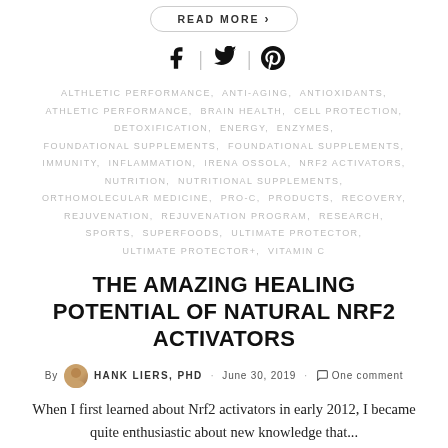READ MORE
[Figure (other): Social media icons: Facebook, Twitter, Pinterest]
ALTHLETIC PERFORMANCE, ANTI-AGING, ANTIOXIDANTS, ATHLETIC PERFORMANCE, BRAIN HEALTH, CELL PROTECTION, DETOXIFICATION, ENERGY, ENZYMES, FOUNDATIONAL SUPPLEMENTS, FOUNDATIONAL SUPPLEMENTS, IMMUNITY, INFLAMMATION, IRENA OSSOLA, NRF2 ACTIVATORS, NUTRITION, NUTRITIONAL SUPPLEMENTS, ORTHOMOLECULAR MEDICINE, PRO-C, PRODUCTS, RECOVERY, REJUVENATION, REJUVENATION PROGRAM, RESEARCH, SPORTS, SUPERFOODS, ULTIMATE PROTECTOR, ULTIMATE PROTECTOR+, VITAMIN C
THE AMAZING HEALING POTENTIAL OF NATURAL NRF2 ACTIVATORS
By HANK LIERS, PHD · June 30, 2019 · One comment
When I first learned about Nrf2 activators in early 2012, I became quite enthusiastic about new knowledge that...